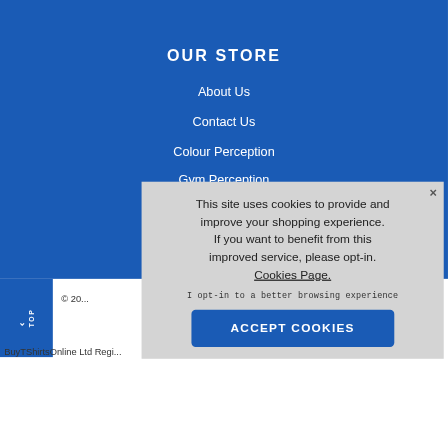International Deliveries
OUR STORE
About Us
Contact Us
Colour Perception
Gym Perception
T-Shirt Printing Manchester
This site uses cookies to provide and improve your shopping experience. If you want to benefit from this improved service, please opt-in. Cookies Page.
I opt-in to a better browsing experience
ACCEPT COOKIES
© 20...
BuyTShirtsOnline Ltd Regi...